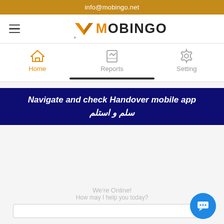info@mobingo.net
[Figure (logo): Mobingo logo with orange M and black OBINGO text, hamburger menu icon on left]
[Figure (screenshot): Navigation bar with Home (active, orange), Reports, and Setting icons]
Navigate and check Handover mobile app
سلم و استلم
We're Online!
How may I help you today?